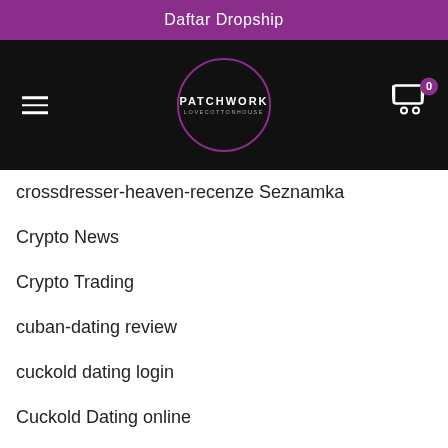Daftar Dropship
[Figure (logo): Patchwork Lovecottonhouse logo in a circle on dark navigation bar with hamburger menu and cart icon]
crossdresser-heaven-recenze Seznamka
Crypto News
Crypto Trading
cuban-dating review
cuckold dating login
Cuckold Dating online
cuckold dating review
Cuckold Dating services